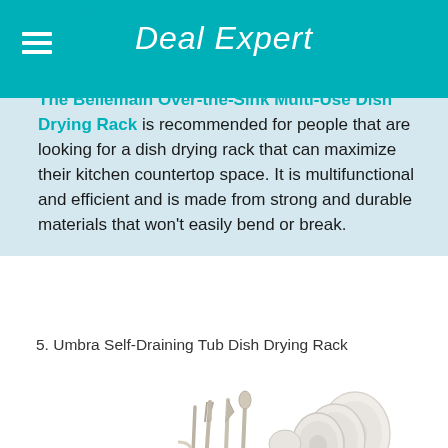Deal Expert
Summary:
The Bellemain Over-the-Sink Multi-Use Dish Drying Rack is recommended for people that are looking for a dish drying rack that can maximize their kitchen countertop space. It is multifunctional and efficient and is made from strong and durable materials that won’t easily bend or break.
5. Umbra Self-Draining Tub Dish Drying Rack
[Figure (photo): A red Umbra Self-Draining Tub Dish Drying Rack holding white plates and silverware/cutlery, photographed on a white background.]